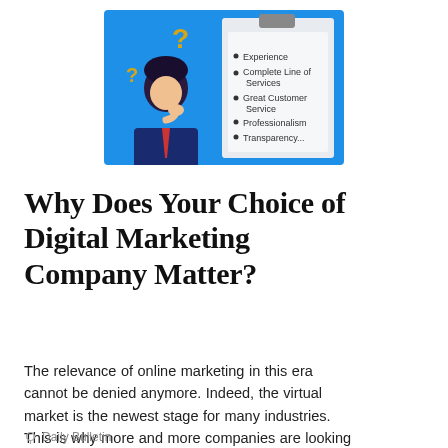[Figure (illustration): An illustration showing a person thinking with question marks above their head, next to a clipboard listing bullet points: Experience, Complete Line of Services, Great Customer Service, Professionalism, Transparency...]
Why Does Your Choice of Digital Marketing Company Matter?
The relevance of online marketing in this era cannot be denied anymore. Indeed, the virtual market is the newest stage for many industries. This is why more and more companies are looking for reliab...
Daily Bulletin